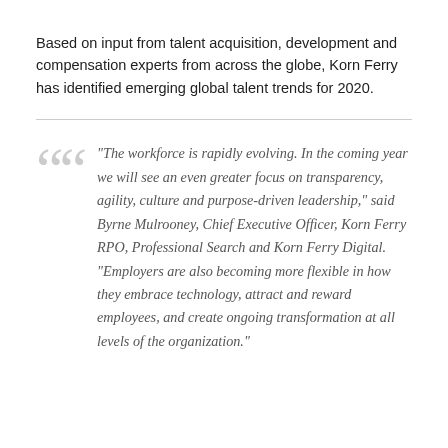Based on input from talent acquisition, development and compensation experts from across the globe, Korn Ferry has identified emerging global talent trends for 2020.
"The workforce is rapidly evolving. In the coming year we will see an even greater focus on transparency, agility, culture and purpose-driven leadership," said Byrne Mulrooney, Chief Executive Officer, Korn Ferry RPO, Professional Search and Korn Ferry Digital. "Employers are also becoming more flexible in how they embrace technology, attract and reward employees, and create ongoing transformation at all levels of the organization."